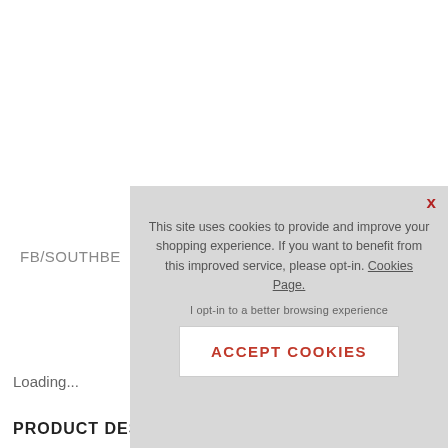FB/SOUTHBE
O
Loading...
PRODUCT DESCRIPTION
[Figure (screenshot): Cookie consent modal overlay on a shopping website. Contains text: 'This site uses cookies to provide and improve your shopping experience. If you want to benefit from this improved service, please opt-in. Cookies Page.' A link 'I opt-in to a better browsing experience' and an 'ACCEPT COOKIES' button. A red X close button is in the top right corner.]